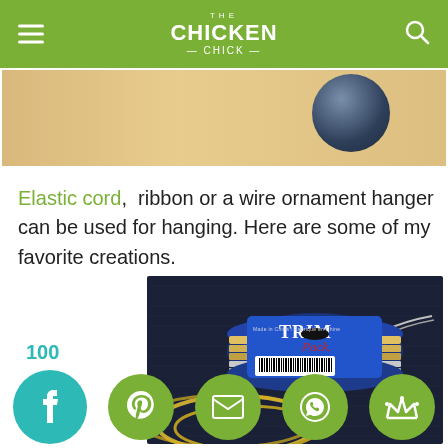THE CHICKEN CHICK
[Figure (photo): Partial photo of a wooden surface with a dark blue/purple rounded object in the upper right corner]
Elastic cord, ribbon or a wire ornament hanger can be used for hanging. Here are some of my favorite creations.
[Figure (photo): Photo of a TRIM Pack spool of elastic cord/wire showing gold and silver wire wrapped around a blue spool with a barcode label, placed on dark blue fabric]